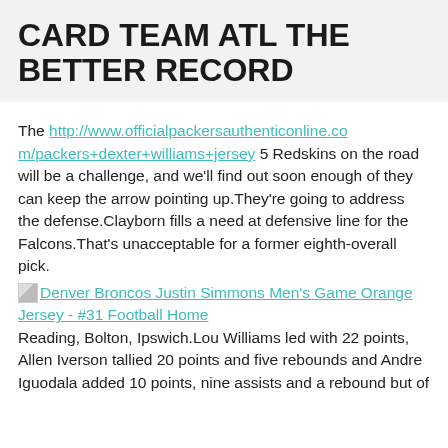CARD TEAM ATL THE BETTER RECORD
The http://www.officialpackersauthenticonline.com/packers+dexter+williams+jersey 5 Redskins on the road will be a challenge, and we'll find out soon enough of they can keep the arrow pointing up.They're going to address the defense.Clayborn fills a need at defensive line for the Falcons.That's unacceptable for a former eighth-overall pick.
[image] Denver Broncos Justin Simmons Men's Game Orange Jersey - #31 Football Home Reading, Bolton, Ipswich.Lou Williams led with 22 points, Allen Iverson tallied 20 points and five rebounds and Andre Iguodala added 10 points, nine assists and a rebound but of